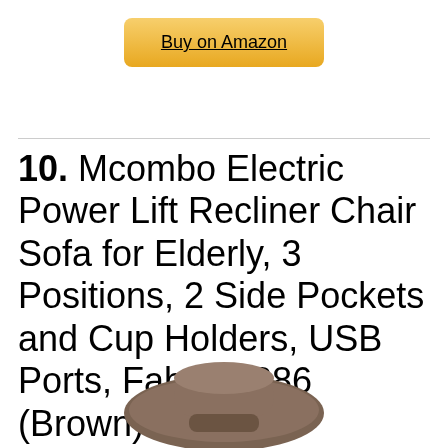Buy on Amazon
10. Mcombo Electric Power Lift Recliner Chair Sofa for Elderly, 3 Positions, 2 Side Pockets and Cup Holders, USB Ports, Fabric 7286 (Brown)
[Figure (photo): Partial bottom view of a brown fabric recliner chair]